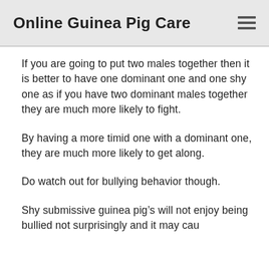Online Guinea Pig Care
If you are going to put two males together then it is better to have one dominant one and one shy one as if you have two dominant males together they are much more likely to fight.
By having a more timid one with a dominant one, they are much more likely to get along.
Do watch out for bullying behavior though.
Shy submissive guinea pig’s will not enjoy being bullied not surprisingly and it may cau